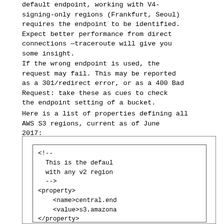default endpoint, working with V4-signing-only regions (Frankfurt, Seoul) requires the endpoint to be identified. Expect better performance from direct connections —traceroute will give you some insight.
If the wrong endpoint is used, the request may fail. This may be reported as a 301/redirect error, or as a 400 Bad Request: take these as cues to check the endpoint setting of a bucket.
Here is a list of properties defining all AWS S3 regions, current as of June 2017:
[Figure (screenshot): Code block showing XML configuration with comment and property elements for AWS S3 regions including central.end and canada.endp]